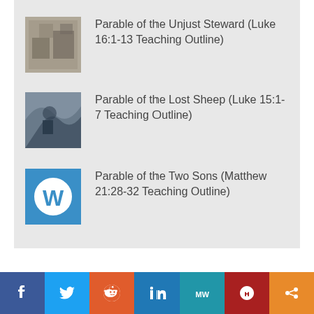Parable of the Unjust Steward (Luke 16:1-13 Teaching Outline)
Parable of the Lost Sheep (Luke 15:1-7 Teaching Outline)
Parable of the Two Sons (Matthew 21:28-32 Teaching Outline)
WORDPRESS.COM.